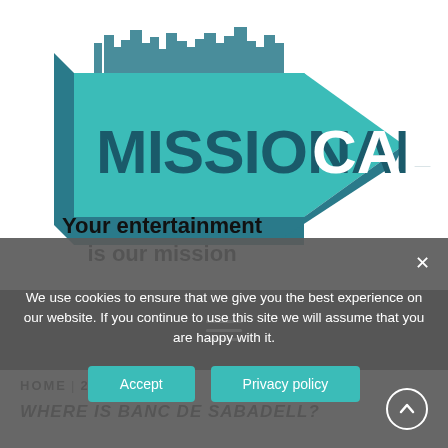[Figure (logo): Missional Call logo: a teal 3D arrow pointing right with city skyline silhouette on top. Text 'MISSIONAL' in large dark teal letters and 'CALL' in white. Below reads 'Your entertainment is our mission' in bold black.]
[Figure (other): Dark navigation bar with hamburger menu icon (three horizontal white lines)]
HOME 2020 JUNE 8
WHERE IS BANC DE SABADELL?
We use cookies to ensure that we give you the best experience on our website. If you continue to use this site we will assume that you are happy with it.